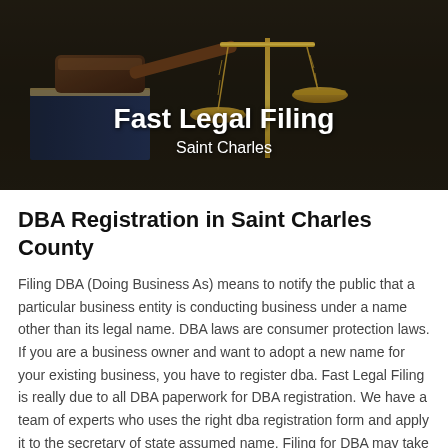[Figure (photo): Hero image of a judge's gavel and golden scales of justice on a dark wooden surface, with overlay text 'Fast Legal Filing' and 'Saint Charles']
DBA Registration in Saint Charles County
Filing DBA (Doing Business As) means to notify the public that a particular business entity is conducting business under a name other than its legal name. DBA laws are consumer protection laws. If you are a business owner and want to adopt a new name for your existing business, you have to register dba. Fast Legal Filing is really due to all DBA paperwork for DBA registration. We have a team of experts who uses the right dba registration form and apply it to the secretary of state assumed name. Filing for DBA may take one to